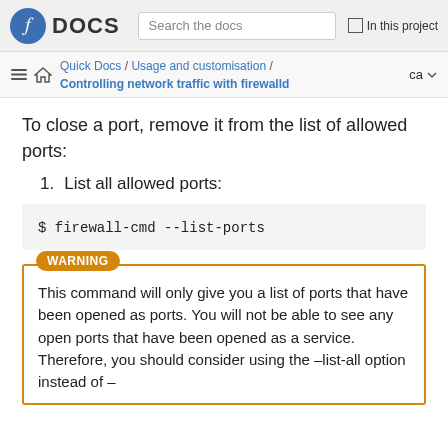Fedora DOCS | Search the docs | In this project
Quick Docs / Usage and customisation / Controlling network traffic with firewalld | ca
To close a port, remove it from the list of allowed ports:
1. List all allowed ports:
$ firewall-cmd --list-ports
WARNING
This command will only give you a list of ports that have been opened as ports. You will not be able to see any open ports that have been opened as a service. Therefore, you should consider using the –list-all option instead of –list-ports.